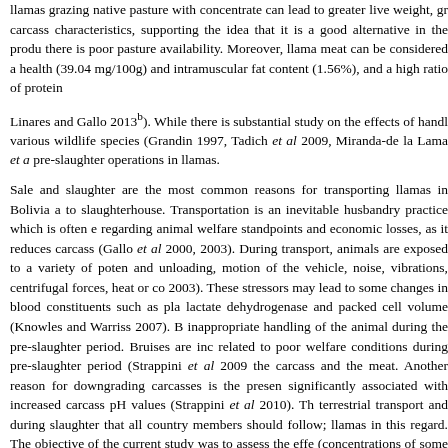llamas grazing native pasture with concentrate can lead to greater live weight, gr carcass characteristics, supporting the idea that it is a good alternative in the produ there is poor pasture availability. Moreover, llama meat can be considered a health (39.04 mg/100g) and intramuscular fat content (1.56%), and a high ratio of protein
Linares and Gallo 2013b). While there is substantial study on the effects of handl various wildlife species (Grandin 1997, Tadich et al 2009, Miranda-de la Lama et a pre-slaughter operations in llamas.
Sale and slaughter are the most common reasons for transporting llamas in Bolivia a to slaughterhouse. Transportation is an inevitable husbandry practice which is often e regarding animal welfare standpoints and economic losses, as it reduces carcass (Gallo et al 2000, 2003). During transport, animals are exposed to a variety of poten and unloading, motion of the vehicle, noise, vibrations, centrifugal forces, heat or co 2003). These stressors may lead to some changes in blood constituents such as pla lactate dehydrogenase and packed cell volume (Knowles and Warriss 2007). B inappropriate handling of the animal during the pre-slaughter period. Bruises are inc related to poor welfare conditions during pre-slaughter period (Strappini et al 2009 the carcass and the meat. Another reason for downgrading carcasses is the presen significantly associated with increased carcass pH values (Strappini et al 2010). Th terrestrial transport and during slaughter that all country members should follow; llamas in this regard. The objective of the current study was to assess the effe (concentrations of some blood constituents) and carcass quality (pH and bruises) ind
MATERIAL AND METHODS
ANIMALS AND PRE-SLAUGHTER CONDITIONS
A total of 30 entire male llamas of the Kh'ara genotype were used. The animals we from one producer in the Bolivian Altiplano and were ready for slaughter. The st